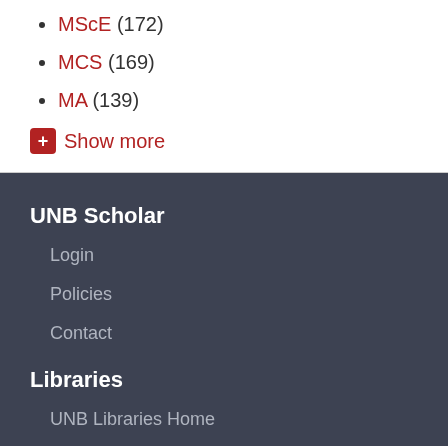MScE (172)
MCS (169)
MA (139)
+ Show more
UNB Scholar
Login
Policies
Contact
Libraries
UNB Libraries Home
Harriet Irving